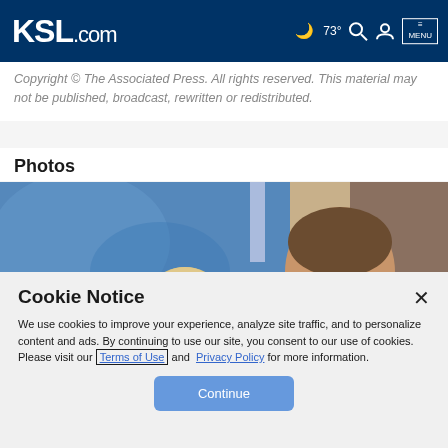KSL.com — 73° weather, search, account, menu icons
Copyright © The Associated Press. All rights reserved. This material may not be published, broadcast, rewritten or redistributed.
Photos
[Figure (photo): Photo of two people in front of a blue background — a blonde woman and a dark-haired man in a suit]
Cookie Notice
We use cookies to improve your experience, analyze site traffic, and to personalize content and ads. By continuing to use our site, you consent to our use of cookies. Please visit our Terms of Use and Privacy Policy for more information.
Continue